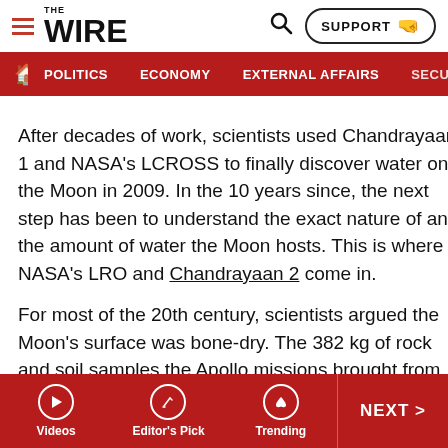THE WIRE — navigation header with logo, search, support button, and nav bar (POLITICS, ECONOMY, EXTERNAL AFFAIRS, SECU...)
After decades of work, scientists used Chandrayaan 1 and NASA's LCROSS to finally discover water on the Moon in 2009. In the 10 years since, the next step has been to understand the exact nature of and the amount of water the Moon hosts. This is where NASA's LRO and Chandrayaan 2 come in.
For most of the 20th century, scientists argued the Moon's surface was bone-dry. The 382 kg of rock and soil samples the Apollo missions brought from the Moon to Earth attested to this. When they did find traces of water in the samples, scientists dismissed them as contamination. The
Videos | Editor's Pick | Trending | NEXT >